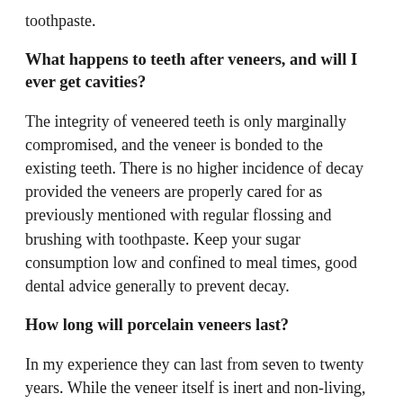toothpaste.
What happens to teeth after veneers, and will I ever get cavities?
The integrity of veneered teeth is only marginally compromised, and the veneer is bonded to the existing teeth. There is no higher incidence of decay provided the veneers are properly cared for as previously mentioned with regular flossing and brushing with toothpaste. Keep your sugar consumption low and confined to meal times, good dental advice generally to prevent decay.
How long will porcelain veneers last?
In my experience they can last from seven to twenty years. While the veneer itself is inert and non-living, the tooth or teeth to which they are attached, and the surrounding gum tissues are living and may change. For example, gum line